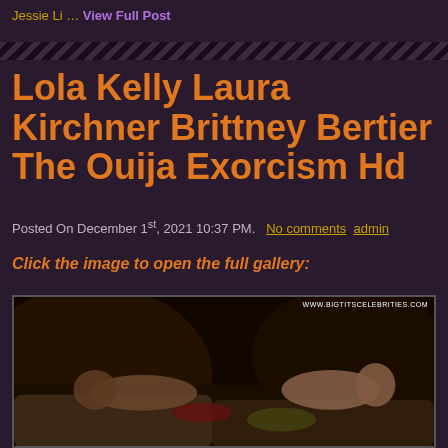Jessie Li … View Full Post
Lola Kelly Laura Kirchner Brittney Bertier The Ouija Exorcism Hd
Posted On December 1st, 2021 10:37 PM.  No comments  admin
Click the image to open the full gallery:
[Figure (photo): A scene from The Ouija Exorcism showing two people on a couch, movie still, dark cinematic lighting]